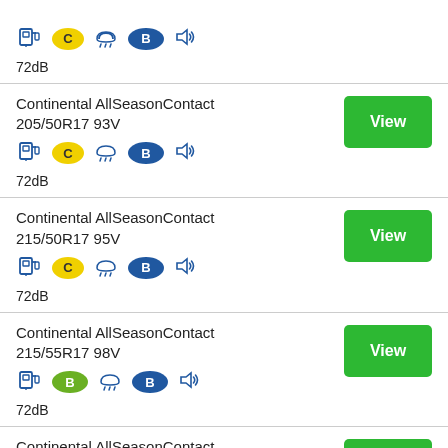Continental AllSeasonContact 205/50R17 93V — C, B, 72dB — View
Continental AllSeasonContact 215/50R17 95V — C, B, 72dB — View
Continental AllSeasonContact 215/55R17 98V — B, B, 72dB — View
Continental AllSeasonContact (partial)